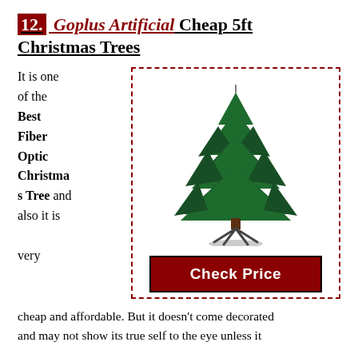12. Goplus Artificial Cheap 5ft Christmas Trees
It is one of the Best Fiber Optic Christmas Tree and also it is very cheap and affordable. But it doesn't come decorated and may not show its true self to the eye unless it
[Figure (illustration): Photo of a green artificial Christmas tree with metal stand, shown against white background, inside a dashed red border box. Below the tree image is a red 'Check Price' button.]